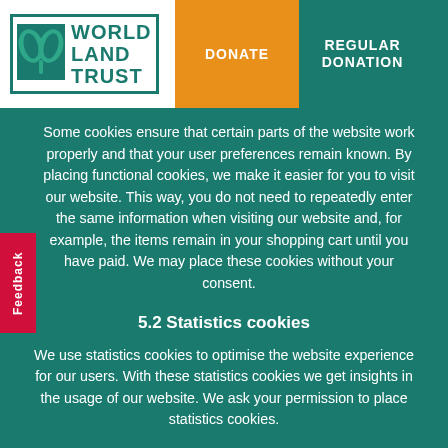[Figure (logo): World Land Trust logo with teal leaf icon and text WORLD LAND TRUST]
DONATE | REGULAR DONATION
Some cookies ensure that certain parts of the website work properly and that your user preferences remain known. By placing functional cookies, we make it easier for you to visit our website. This way, you do not need to repeatedly enter the same information when visiting our website and, for example, the items remain in your shopping cart until you have paid. We may place these cookies without your consent.
5.2 Statistics cookies
We use statistics cookies to optimise the website experience for our users. With these statistics cookies we get insights in the usage of our website. We ask your permission to place statistics cookies.
5.3 Advertising cookies
On this website we use advertising cookies, enabling us to gain insights into the campaign results. This happens based on a profile we